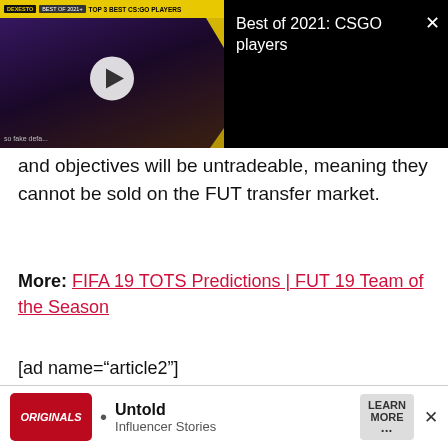[Figure (screenshot): Video player thumbnail showing a man with a beard in purple/blue lighting, with a yellow top bar reading 'TOP 3 BEST CS:GO PLAYERS', a play button overlay, and subtitle text 'so fake defa...' at the bottom. Right side shows black background with text 'Best of 2021: CSGO players' and a close button.]
and objectives will be untradeable, meaning they cannot be sold on the FUT transfer market.
More: FIFA 19 TOTS Predictions | FUT 19 Team of the Season
[ad name="article2"]
FIFA 19 Premier League TOTS Squad
[Figure (screenshot): Bottom advertisement banner with red ORIGINALS logo, bullet point, 'Untold Influencer Stories' text, LEARN MORE button, and X close button.]